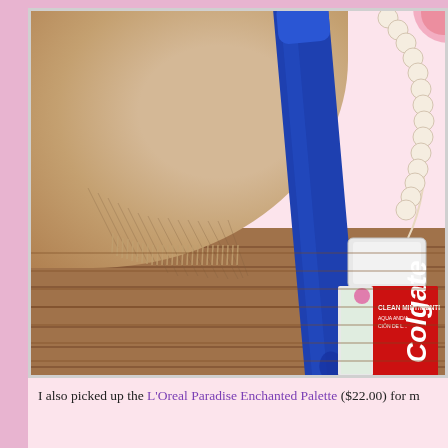[Figure (photo): A blue electric toothbrush or similar blue grooming device lying diagonally on a beige/tan fluffy towel, beside a Colgate Clean Mint toothpaste tube, with pearl jewelry visible in the upper right, all on a wooden surface background.]
I also picked up the L'Oreal Paradise Enchanted Palette ($22.00) for m